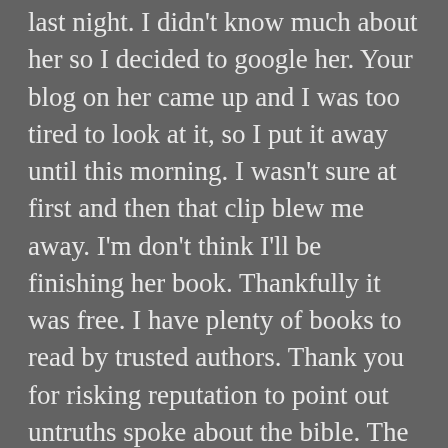last night. I didn't know much about her so I decided to google her. Your blog on her came up and I was too tired to look at it, so I put it away until this morning. I wasn't sure at first and then that clip blew me away. I'm don't think I'll be finishing her book. Thankfully it was free. I have plenty of books to read by trusted authors. Thank you for risking reputation to point out untruths spoke about the bible. The bible isn't all love and acceptance. There is judgement, there is wrath, and Jesus paid for all of it. And we have to repent in order to be forgiven or we will face God's judgement in the end. Thank you again